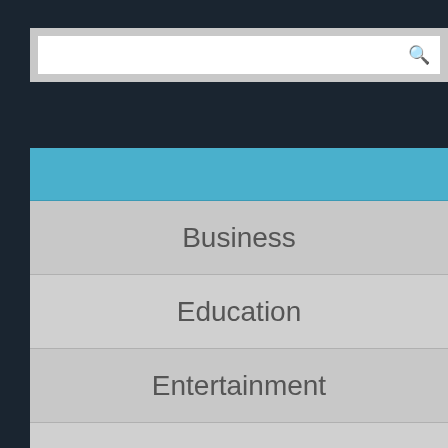[Figure (screenshot): Search bar input field with magnifying glass icon on dark background]
Business
Education
Entertainment
Finance
Games
General
Health
Law
Medical